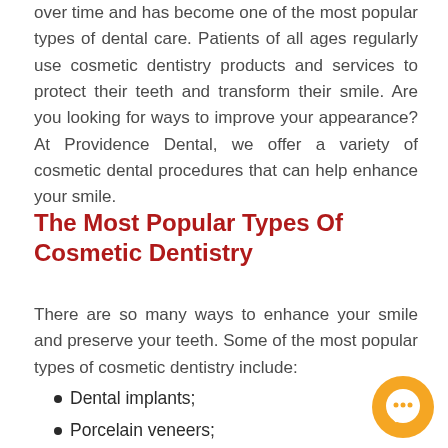over time and has become one of the most popular types of dental care. Patients of all ages regularly use cosmetic dentistry products and services to protect their teeth and transform their smile. Are you looking for ways to improve your appearance? At Providence Dental, we offer a variety of cosmetic dental procedures that can help enhance your smile.
The Most Popular Types Of Cosmetic Dentistry
There are so many ways to enhance your smile and preserve your teeth. Some of the most popular types of cosmetic dentistry include:
Dental implants;
Porcelain veneers;